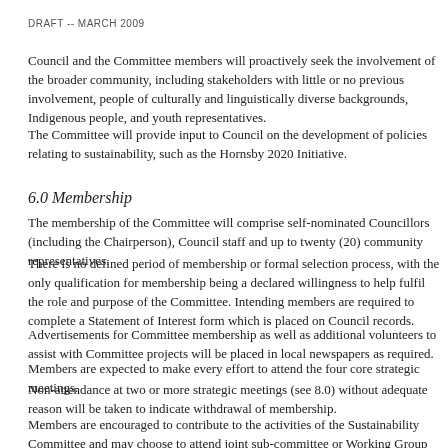DRAFT -- MARCH 2009
Council and the Committee members will proactively seek the involvement of the broader community, including stakeholders with little or no previous involvement, people of culturally and linguistically diverse backgrounds, Indigenous people, and youth representatives.
The Committee will provide input to Council on the development of policies relating to sustainability, such as the Hornsby 2020 Initiative.
6.0 Membership
The membership of the Committee will comprise self-nominated Councillors (including the Chairperson), Council staff and up to twenty (20) community representatives.
There is no defined period of membership or formal selection process, with the only qualification for membership being a declared willingness to help fulfil the role and purpose of the Committee. Intending members are required to complete a Statement of Interest form which is placed on Council records.
Advertisements for Committee membership as well as additional volunteers to assist with Committee projects will be placed in local newspapers as required.
Members are expected to make every effort to attend the four core strategic meetings.
Non-attendance at two or more strategic meetings (see 8.0) without adequate reason will be taken to indicate withdrawal of membership.
Members are encouraged to contribute to the activities of the Sustainability Committee and may choose to attend joint sub-committee or Working Group meetings.